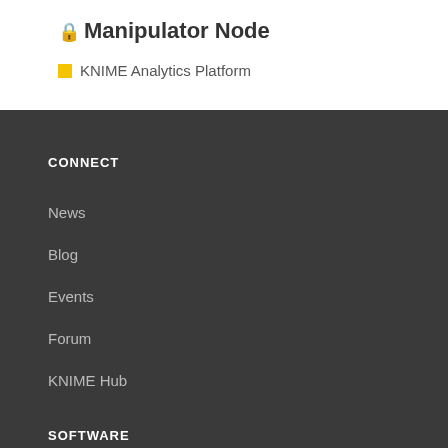🔒 Manipulator Node
KNIME Analytics Platform
CONNECT
News
Blog
Events
Forum
KNIME Hub
SOFTWARE
KNIME Software Overview
KNIME Analytics Platform
KNIME Server